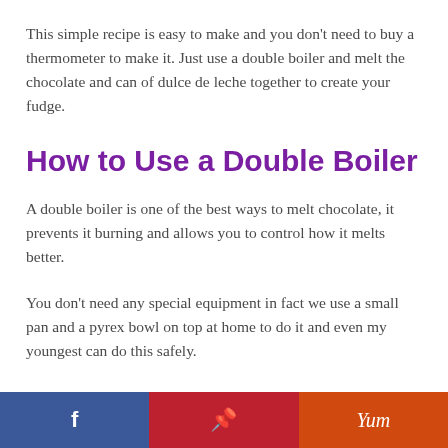This simple recipe is easy to make and you don't need to buy a thermometer to make it. Just use a double boiler and melt the chocolate and can of dulce de leche together to create your fudge.
How to Use a Double Boiler
A double boiler is one of the best ways to melt chocolate, it prevents it burning and allows you to control how it melts better.
You don't need any special equipment in fact we use a small pan and a pyrex bowl on top at home to do it and even my youngest can do this safely.
Facebook | Pinterest | Yum